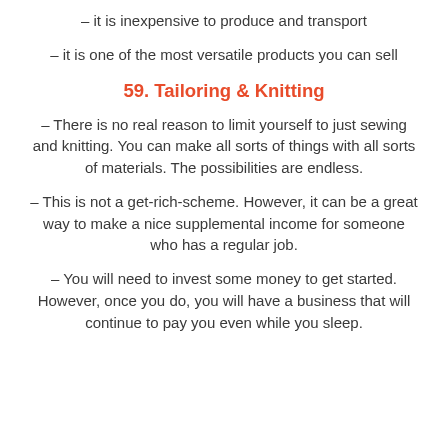– it is inexpensive to produce and transport
– it is one of the most versatile products you can sell
59. Tailoring & Knitting
– There is no real reason to limit yourself to just sewing and knitting. You can make all sorts of things with all sorts of materials. The possibilities are endless.
– This is not a get-rich-scheme. However, it can be a great way to make a nice supplemental income for someone who has a regular job.
– You will need to invest some money to get started. However, once you do, you will have a business that will continue to pay you even while you sleep.